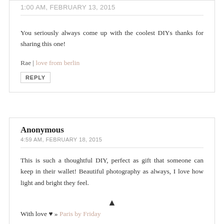1:00 AM, FEBRUARY 13, 2015
You seriously always come up with the coolest DIYs thanks for sharing this one!
Rae | love from berlin
REPLY
Anonymous
4:59 AM, FEBRUARY 18, 2015
This is such a thoughtful DIY, perfect as gift that someone can keep in their wallet! Beautiful photography as always, I love how light and bright they feel.
With love ♥ » Paris by Friday